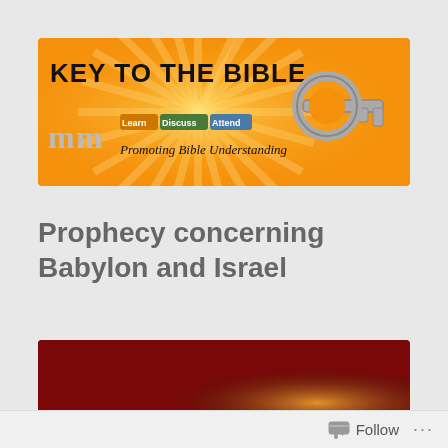[Figure (logo): Key to the Bible logo banner with orange background, sunburst rays, large key graphic, tabbed buttons labeled Learn Discuss Attend, and tagline Promoting Bible Understanding]
Prophecy concerning Babylon and Israel
[Figure (illustration): Unlocking Bible banner with dark red and brown gradient background and white bold text reading Unlocking Bible]
Follow ...